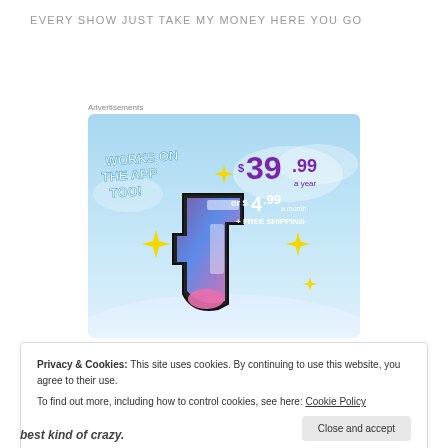EVERY SHOW JUST TAKE MY MONEY HERE YOU GO
Advertisements
[Figure (illustration): Tumblr advertisement showing the Tumblr 't' logo with sparkles on a blue sky background. Text reads 'WORKS ON THE APP TOO!' on the left, and '$39.99 a year or $4.99 a month + FREE SHIPPING' on the right in purple and dark text.]
Privacy & Cookies: This site uses cookies. By continuing to use this website, you agree to their use.
To find out more, including how to control cookies, see here: Cookie Policy
best kind of crazy.